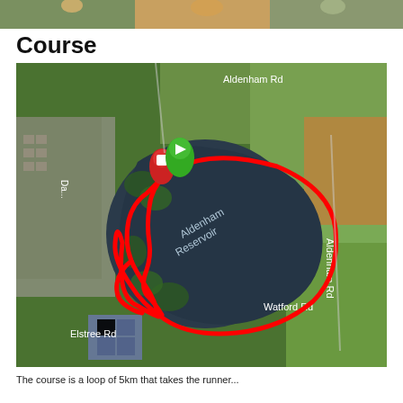[Figure (photo): Partial photo strip at top of page showing people, likely runners]
Course
[Figure (map): Aerial satellite map showing the running course around Aldenham Reservoir. A red route line traces a loop around the reservoir. Road labels visible: Aldenham Rd (top), Aldenham Rd (right), Watford Rd (bottom right), Elstree Rd (bottom left), Da... (left side). Green start/play marker and red stop marker shown at top-left of the route.]
The course is a loop of 5km that takes the runner...